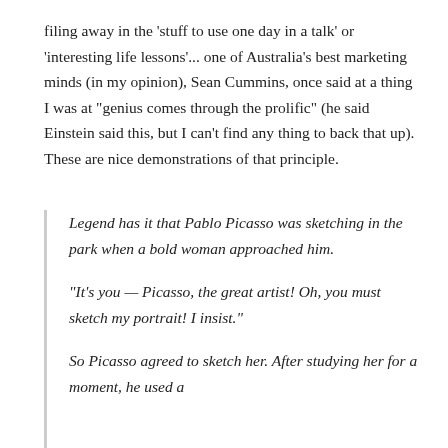filing away in the 'stuff to use one day in a talk' or 'interesting life lessons'... one of Australia's best marketing minds (in my opinion), Sean Cummins, once said at a thing I was at "genius comes through the prolific" (he said Einstein said this, but I can't find any thing to back that up). These are nice demonstrations of that principle.
Legend has it that Pablo Picasso was sketching in the park when a bold woman approached him.

"It's you — Picasso, the great artist! Oh, you must sketch my portrait! I insist."

So Picasso agreed to sketch her. After studying her for a moment, he used a